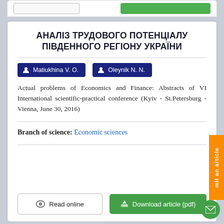АНАЛІЗ ТРУДОВОГО ПОТЕНЦІАЛУ ПІВДЕННОГО РЕГІОНУ УКРАЇНИ
Matiukhina V. O.   Oleynik N. N.
Actual problems of Economics and Finance: Abstracts of VI International scientific-practical conference (Kyiv - St.Petersburg - Vienna, June 30, 2016)
Branch of science: Economic sciences